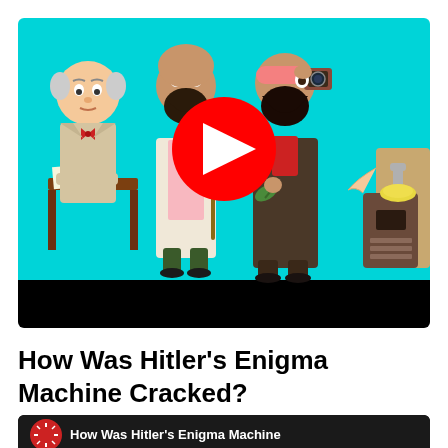[Figure (screenshot): YouTube video thumbnail showing cartoon/animated characters on a cyan background: a man in a suit at a desk, a scientist in a lab coat holding a stick, a bearded man in a suit holding something up to his eye with a pink bandana, and another figure on the right. A large red YouTube play button is centered on the image. Below the thumbnail is a black letterbox bar.]
How Was Hitler's Enigma Machine Cracked?
[Figure (screenshot): Bottom strip showing a YouTube video card with a black background, a red circular logo/icon on the left with a white sun/star design, and partial white text reading 'How Was Hitler's Enigma Machine']